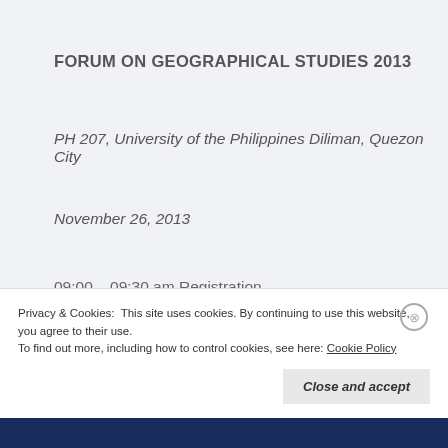FORUM ON GEOGRAPHICAL STUDIES 2013
PH 207, University of the Philippines Diliman, Quezon City
November 26, 2013
09:00 – 09:30 am Registration
09:30 – 10:00 am National Anthem and Opening Remarks
Privacy & Cookies: This site uses cookies. By continuing to use this website, you agree to their use. To find out more, including how to control cookies, see here: Cookie Policy
Close and accept